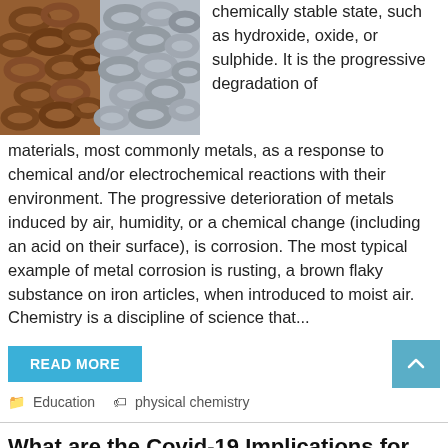[Figure (photo): Two metal chains side by side — left chain is rusty/brown, right chain is shiny silver/metallic]
chemically stable state, such as hydroxide, oxide, or sulphide. It is the progressive degradation of materials, most commonly metals, as a response to chemical and/or electrochemical reactions with their environment. The progressive deterioration of metals induced by air, humidity, or a chemical change (including an acid on their surface), is corrosion. The most typical example of metal corrosion is rusting, a brown flaky substance on iron articles, when introduced to moist air. Chemistry is a discipline of science that...
READ MORE
Education   physical chemistry
What are the Covid-19 Implications for Business